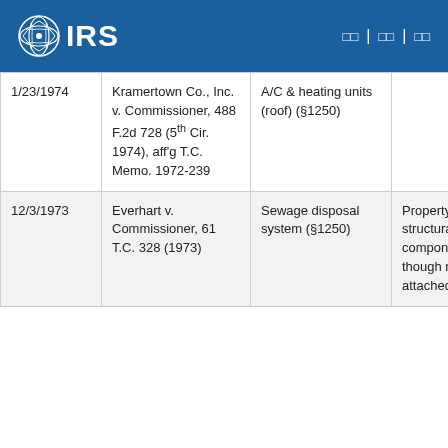IRS
| Date | Case | Property | Description |
| --- | --- | --- | --- |
| 1/23/1974 | Kramertown Co., Inc. v. Commissioner, 488 F.2d 728 (5th Cir. 1974), aff'g T.C. Memo. 1972-239 | A/C & heating units (roof) (§1250) |  |
| 12/3/1973 | Everhart v. Commissioner, 61 T.C. 328 (1973) | Sewage disposal system (§1250) | Property is structurally a component even though not directly attached to building. |